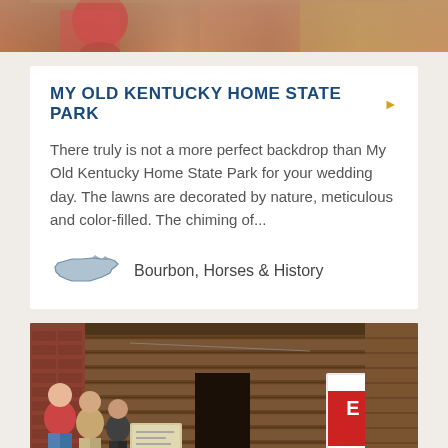[Figure (photo): Top portion of a photo, showing people and a colorful background, partially cropped]
MY OLD KENTUCKY HOME STATE PARK
There truly is not a more perfect backdrop than My Old Kentucky Home State Park for your wedding day. The lawns are decorated by nature, meticulous and color-filled. The chiming of...
Bourbon, Horses & History
[Figure (photo): Photo of a log cabin historic building with visitors/tourists standing outside looking at interpretive signs. Brick wall visible on the left.]